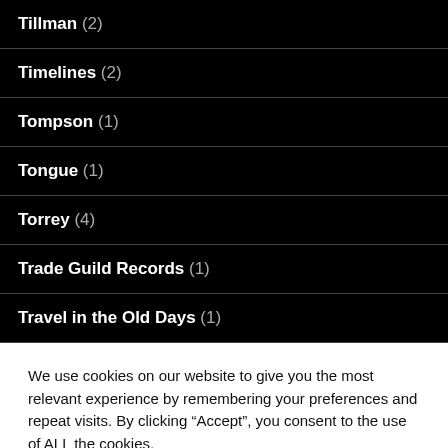Tillman (2)
Timelines (2)
Tompson (1)
Tongue (1)
Torrey (4)
Trade Guild Records (1)
Travel in the Old Days (1)
We use cookies on our website to give you the most relevant experience by remembering your preferences and repeat visits. By clicking “Accept”, you consent to the use of ALL the cookies. Do not sell my personal information.
Cookie settings | ACCEPT